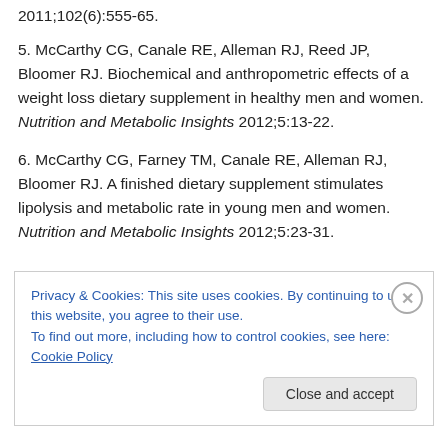2011;102(6):555-65.
5. McCarthy CG, Canale RE, Alleman RJ, Reed JP, Bloomer RJ. Biochemical and anthropometric effects of a weight loss dietary supplement in healthy men and women. Nutrition and Metabolic Insights 2012;5:13-22.
6. McCarthy CG, Farney TM, Canale RE, Alleman RJ, Bloomer RJ. A finished dietary supplement stimulates lipolysis and metabolic rate in young men and women. Nutrition and Metabolic Insights 2012;5:23-31.
Privacy & Cookies: This site uses cookies. By continuing to use this website, you agree to their use. To find out more, including how to control cookies, see here: Cookie Policy